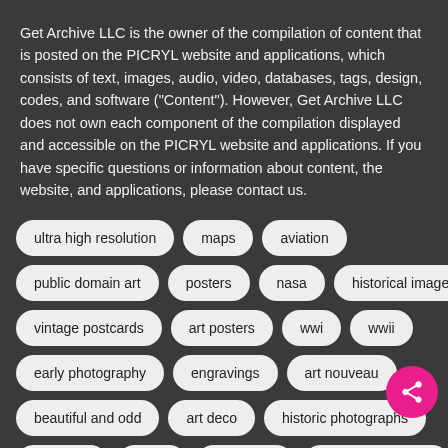Get Archive LLC is the owner of the compilation of content that is posted on the PICRYL website and applications, which consists of text, images, audio, video, databases, tags, design, codes, and software ("Content"). However, Get Archive LLC does not own each component of the compilation displayed and accessible on the PICRYL website and applications. If you have specific questions or information about content, the website, and applications, please contact us.
ultra high resolution
maps
aviation
public domain art
posters
nasa
historical images
vintage postcards
art posters
wwi
wwii
early photography
engravings
art nouveau
beautiful and odd
art deco
historic photographs
paintings
prints
engraving
american civil war